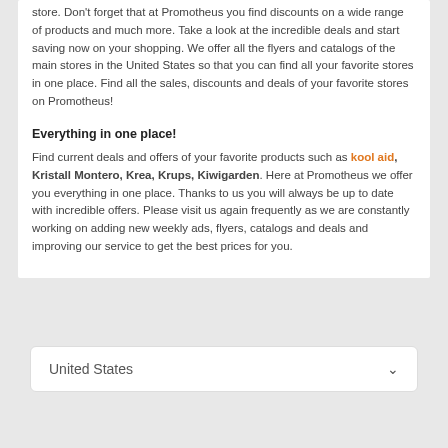store. Don't forget that at Promotheus you find discounts on a wide range of products and much more. Take a look at the incredible deals and start saving now on your shopping. We offer all the flyers and catalogs of the main stores in the United States so that you can find all your favorite stores in one place. Find all the sales, discounts and deals of your favorite stores on Promotheus!
Everything in one place!
Find current deals and offers of your favorite products such as kool aid, Kristall Montero, Krea, Krups, Kiwigarden. Here at Promotheus we offer you everything in one place. Thanks to us you will always be up to date with incredible offers. Please visit us again frequently as we are constantly working on adding new weekly ads, flyers, catalogs and deals and improving our service to get the best prices for you.
United States